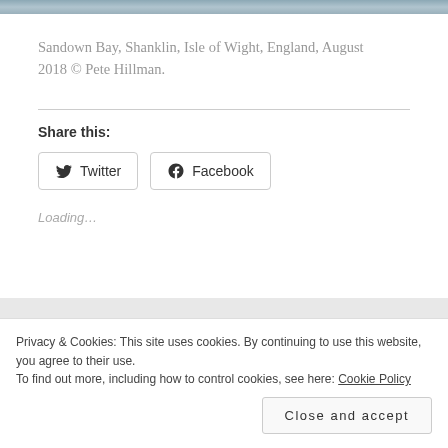[Figure (photo): Partial top strip of a coastal/sea photograph — Sandown Bay, Shanklin]
Sandown Bay, Shanklin, Isle of Wight, England, August 2018 © Pete Hillman.
Share this:
Twitter  Facebook
Loading…
Privacy & Cookies: This site uses cookies. By continuing to use this website, you agree to their use.
To find out more, including how to control cookies, see here: Cookie Policy